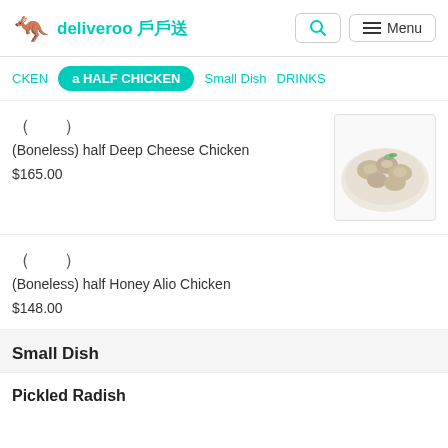deliveroo 戶戶送
CKEN
a HALF CHICKEN
Small Dish
DRINKS
（ ）
(Boneless) half Deep Cheese Chicken
$165.00
[Figure (photo): Plate of boneless deep cheese chicken pieces garnished with herbs]
（ ）
(Boneless) half Honey Alio Chicken
$148.00
Small Dish
Pickled Radish